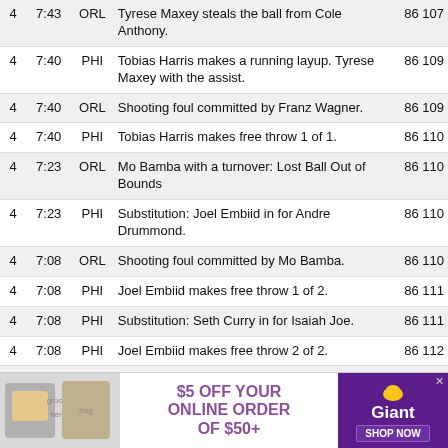| Q | Time | Team | Description | Score |
| --- | --- | --- | --- | --- |
| 4 | 7:43 | ORL | Tyrese Maxey steals the ball from Cole Anthony. | 86 107 |
| 4 | 7:40 | PHI | Tobias Harris makes a running layup. Tyrese Maxey with the assist. | 86 109 |
| 4 | 7:40 | ORL | Shooting foul committed by Franz Wagner. | 86 109 |
| 4 | 7:40 | PHI | Tobias Harris makes free throw 1 of 1. | 86 110 |
| 4 | 7:23 | ORL | Mo Bamba with a turnover: Lost Ball Out of Bounds | 86 110 |
| 4 | 7:23 | PHI | Substitution: Joel Embiid in for Andre Drummond. | 86 110 |
| 4 | 7:08 | ORL | Shooting foul committed by Mo Bamba. | 86 110 |
| 4 | 7:08 | PHI | Joel Embiid makes free throw 1 of 2. | 86 111 |
| 4 | 7:08 | PHI | Substitution: Seth Curry in for Isaiah Joe. | 86 111 |
| 4 | 7:08 | PHI | Joel Embiid makes free throw 2 of 2. | 86 112 |
| 4 | 6:45 | ORL | Joel Embiid blocks a Cole Anthony jump shot from 13 feet out. | 86 112 |
[Figure (infographic): Advertisement banner: $5 OFF YOUR ONLINE ORDER OF $50+ Giant Food store ad with shop now button]